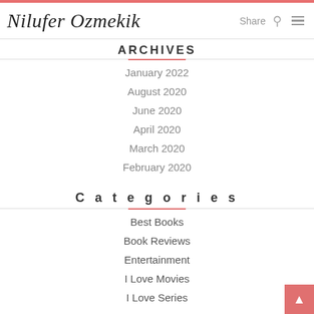Nilufer Ozmekik — Share
Archives
January 2022
August 2020
June 2020
April 2020
March 2020
February 2020
Categories
Best Books
Book Reviews
Entertainment
I Love Movies
I Love Series